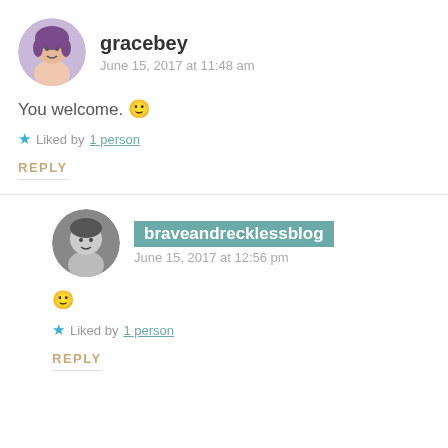[Figure (photo): Circular avatar of user gracebey, a young woman with purple-tinted hair]
gracebey
June 15, 2017 at 11:48 am
You welcome. 🙂
★ Liked by 1 person
REPLY
[Figure (photo): Circular black-and-white avatar of user braveandrecklessblog]
braveandrecklessblog
June 15, 2017 at 12:56 pm
🙂
★ Liked by 1 person
REPLY